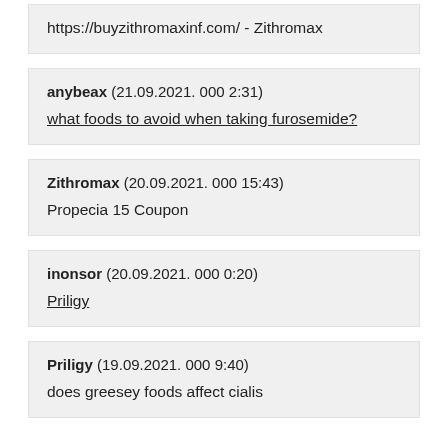https://buyzithromaxinf.com/ - Zithromax
anybeax (21.09.2021. 000 2:31)
what foods to avoid when taking furosemide?
Zithromax (20.09.2021. 000 15:43)
Propecia 15 Coupon
inonsor (20.09.2021. 000 0:20)
Priligy
Priligy (19.09.2021. 000 9:40)
does greesey foods affect cialis